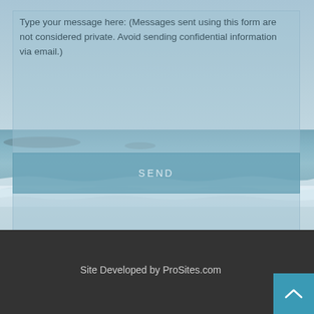Type your message here: (Messages sent using this form are not considered private.  Avoid sending confidential information via email.)
SEND
Site Developed by ProSites.com